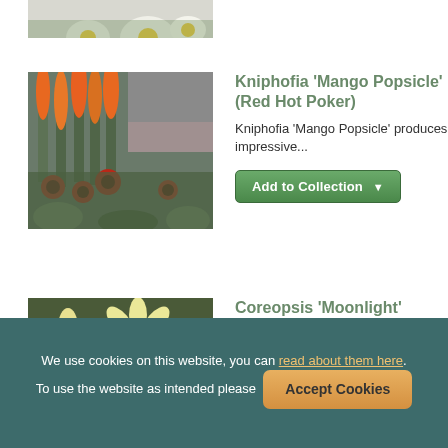[Figure (photo): Cropped top of daisy flowers, partially visible at top of page]
[Figure (photo): Kniphofia 'Mango Popsicle' (Red Hot Poker) flowers — tall orange torch-like blooms with red coneflowers in garden setting]
Kniphofia 'Mango Popsicle' (Red Hot Poker)
Kniphofia 'Mango Popsicle' produces impressive...
[Figure (photo): Coreopsis 'Moonlight' (Tickseed) — pale yellow daisy-like flowers with golden centres]
Coreopsis 'Moonlight' (Tickseed)
Untroubled by most pests and diseases, Coreopsis...
We use cookies on this website, you can read about them here. To use the website as intended please  Accept Cookies